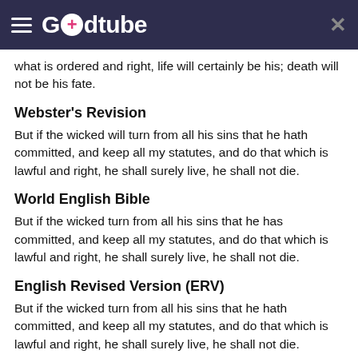Godtube
what is ordered and right, life will certainly be his; death will not be his fate.
Webster's Revision
But if the wicked will turn from all his sins that he hath committed, and keep all my statutes, and do that which is lawful and right, he shall surely live, he shall not die.
World English Bible
But if the wicked turn from all his sins that he has committed, and keep all my statutes, and do that which is lawful and right, he shall surely live, he shall not die.
English Revised Version (ERV)
But if the wicked turn from all his sins that he hath committed, and keep all my statutes, and do that which is lawful and right, he shall surely live, he shall not die.